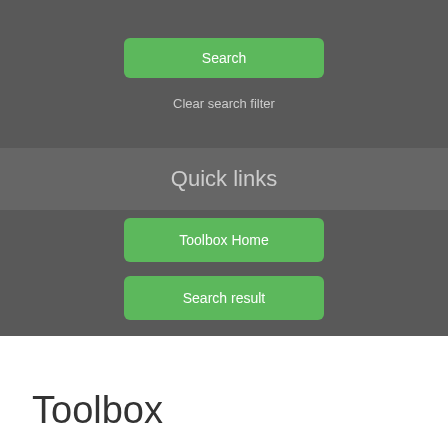[Figure (screenshot): Green 'Search' button on dark grey background]
Clear search filter
Quick links
[Figure (screenshot): Green 'Toolbox Home' button on dark grey background]
[Figure (screenshot): Green 'Search result' button on dark grey background]
Toolbox